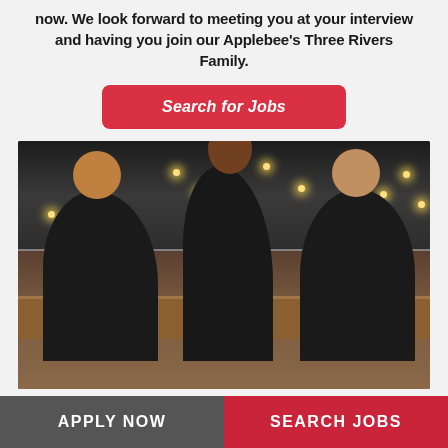now. We look forward to meeting you at your interview and having you join our Applebee's Three Rivers Family.
Search for Jobs
[Figure (photo): Three Applebee's restaurant employees in black uniforms laughing and talking together inside an Applebee's restaurant with track lighting on the ceiling and 'HERE'S YOU' visible on a sign in the background.]
APPLY NOW
SEARCH JOBS